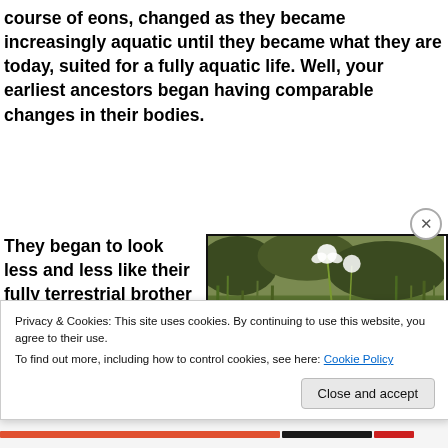course of eons, changed as they became increasingly aquatic until they became what they are today, suited for a fully aquatic life. Well, your earliest ancestors began having comparable changes in their bodies.
They began to look less and less like their fully terrestrial brother and sister apes and more like aquatic beings. But again, those
[Figure (photo): A child wading in a wetland/marsh area, holding a white flower, surrounded by green reeds and lily pads on dark water]
Privacy & Cookies: This site uses cookies. By continuing to use this website, you agree to their use.
To find out more, including how to control cookies, see here: Cookie Policy
Close and accept